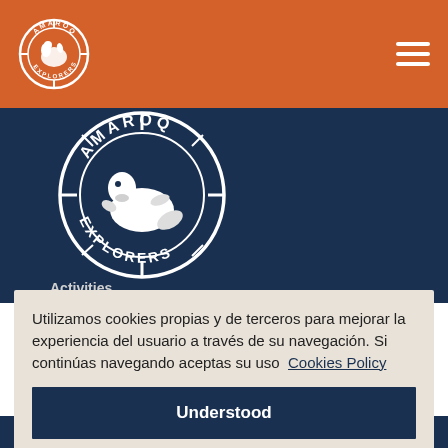[Figure (logo): Amaroq Explorers circular logo (small, white) in orange header bar]
[Figure (logo): Amaroq Explorers circular logo (large, white) on dark navy background]
Activities
Utilizamos cookies propias y de terceros para mejorar la experiencia del usuario a través de su navegación. Si continúas navegando aceptas su uso  Cookies Policy
Understood
Legal Notice